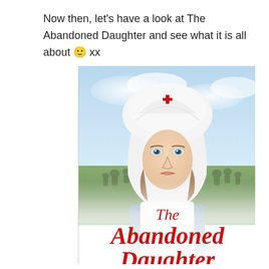Now then, let's have a look at The Abandoned Daughter and see what it is all about 🙂 xx
[Figure (photo): Book cover of 'The Abandoned Daughter' showing a young woman dressed as a WWI nurse in white uniform with Red Cross cap, looking seriously at the camera. In the background is a cloudy sky and a field with soldiers. At the bottom of the cover in red italic script are the words 'The Abandoned' with the rest of the title cut off.]